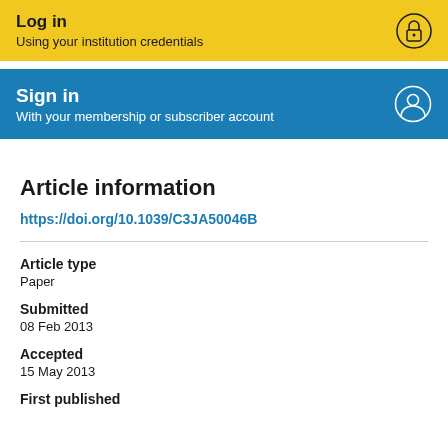Log in
Using your institution credentials
Sign in
With your membership or subscriber account
Article information
https://doi.org/10.1039/C3JA50046B
Article type
Paper
Submitted
08 Feb 2013
Accepted
15 May 2013
First published